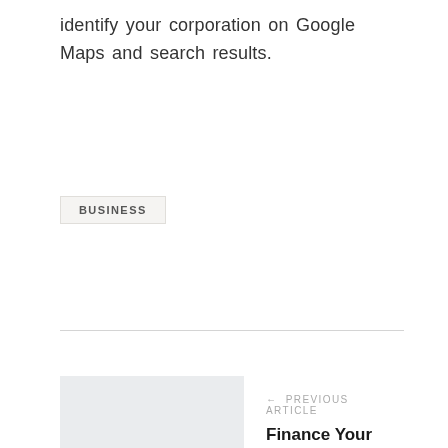identify your corporation on Google Maps and search results.
BUSINESS
PREVIOUS ARTICLE
Finance Your Business
NEXT ARTICLE
Business & Finance Information